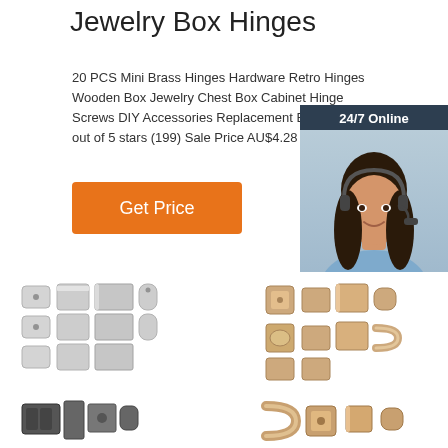Jewelry Box Hinges
20 PCS Mini Brass Hinges Hardware Retro Hinges Wooden Box Jewelry Chest Box Cabinet Hinge Screws DIY Accessories Replacement Brass Hinge 5 out of 5 stars (199) Sale Price AU$4.28 AU$ 4.28
[Figure (infographic): Orange 'Get Price' button]
[Figure (photo): 24/7 Online chat widget with female customer service agent wearing headset, dark blue background, 'Click here for free chat!' text, and orange QUOTATION button]
[Figure (photo): Product images of mini brass hinges - silver/chrome colored hinge sets and gold/rose gold colored hinge sets arranged in grid view]